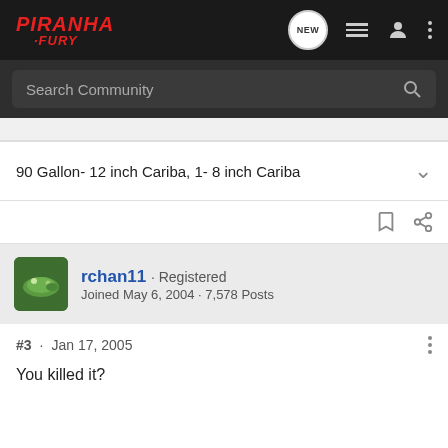PIRANHA FURY
Search Community
90 Gallon- 12 inch Cariba, 1- 8 inch Cariba
rchan11 · Registered
Joined May 6, 2004 · 7,578 Posts
#3 · Jan 17, 2005
You killed it?